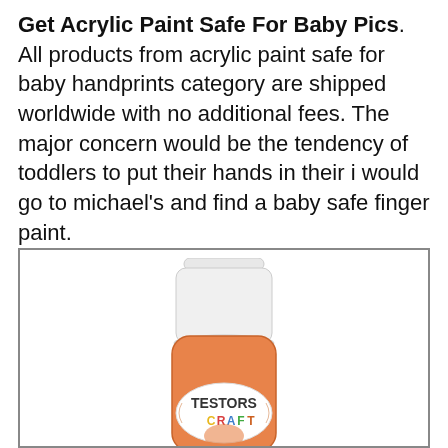Get Acrylic Paint Safe For Baby Pics. All products from acrylic paint safe for baby handprints category are shipped worldwide with no additional fees. The major concern would be the tendency of toddlers to put their hands in their i would go to michael's and find a baby safe finger paint.
[Figure (photo): Photo of a Testors Craft acrylic paint bottle in orange color with white cap, shown inside a gray-bordered box.]